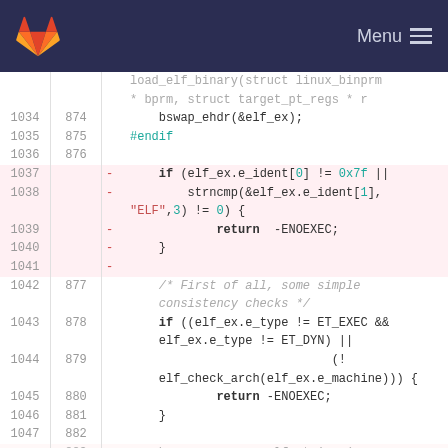[Figure (screenshot): GitLab navigation bar with fox logo and Menu hamburger icon on dark navy background]
Code diff view showing load_elf_binary function lines 1034-1047 / 874-882, with removed lines (pink background) for ELF magic number check and normal lines for consistency checks.